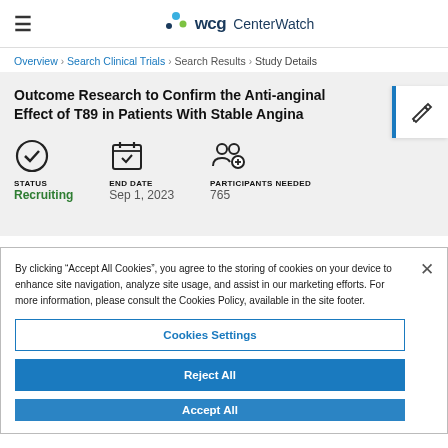WCG CenterWatch
Overview > Search Clinical Trials > Search Results > Study Details
Outcome Research to Confirm the Anti-anginal Effect of T89 in Patients With Stable Angina
STATUS: Recruiting | END DATE: Sep 1, 2023 | PARTICIPANTS NEEDED: 765
By clicking “Accept All Cookies”, you agree to the storing of cookies on your device to enhance site navigation, analyze site usage, and assist in our marketing efforts. For more information, please consult the Cookies Policy, available in the site footer.
Cookies Settings
Reject All